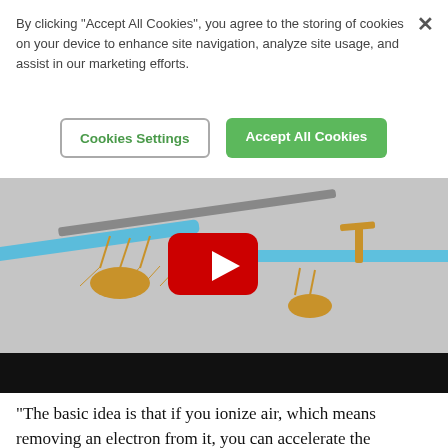By clicking "Accept All Cookies", you agree to the storing of cookies on your device to enhance site navigation, analyze site usage, and assist in our marketing efforts.
[Figure (screenshot): Cookie consent banner with 'Cookies Settings' outline button and 'Accept All Cookies' green button, plus a close X button in the top right]
[Figure (screenshot): YouTube video embed showing a 3D rendered ionic wind aircraft (ion thruster plane) with blue wings, golden struts and ion emitters, gray background, with a YouTube play button overlay and a black control bar at the bottom.]
“The basic idea is that if you ionize air, which means removing an electron from it, you can accelerate the